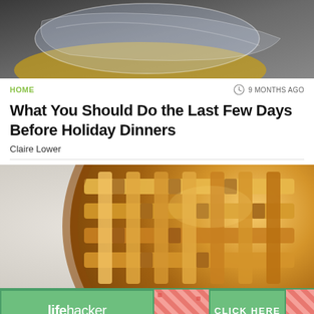[Figure (photo): Top portion of a food photo showing a dish covered with a plastic bag on a yellow plate, dark background]
HOME
9 MONTHS AGO
What You Should Do the Last Few Days Before Holiday Dinners
Claire Lower
[Figure (photo): Close-up photo of a golden-brown lattice pie crust on a white surface]
[Figure (screenshot): Lifehacker advertisement banner with green background, lifehacker logo on left, diagonal stripe pattern in middle, and CLICK HERE button on right]